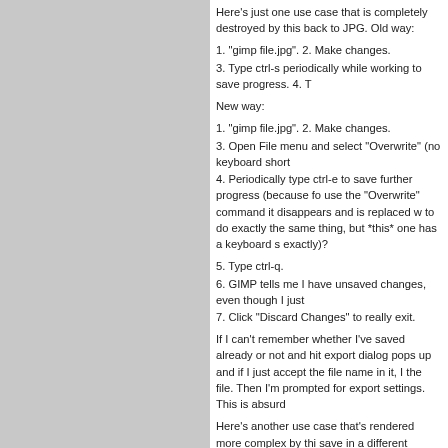Here's just one use case that is completely destroyed by this back to JPG. Old way:
1. "gimp file.jpg". 2. Make changes.
3. Type ctrl-s periodically while working to save progress. 4. T
New way:
1. "gimp file.jpg". 2. Make changes.
3. Open File menu and select "Overwrite" (no keyboard short
4. Periodically type ctrl-e to save further progress (because fo use the "Overwrite" command it disappears and is replaced w to do exactly the same thing, but *this* one has a keyboard s exactly)?
5. Type ctrl-q.
6. GIMP tells me I have unsaved changes, even though I just
7. Click "Discard Changes" to really exit.
If I can't remember whether I've saved already or not and hit export dialog pops up and if I just accept the file name in it, I the file. Then I'm prompted for export settings. This is absurd
Here's another use case that's rendered more complex by thi save in a different format. Old way:
1. "gimp image.fmt1". 2. Make changes.
3. ctrl-shift-s.
4. Modify extension in save dialog. 5. ctrl-q.